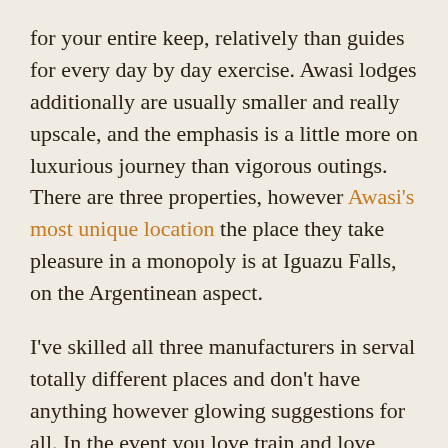for your entire keep, relatively than guides for every day by day exercise. Awasi lodges additionally are usually smaller and really upscale, and the emphasis is a little more on luxurious journey than vigorous outings. There are three properties, however Awasi's most unique location the place they take pleasure in a monopoly is at Iguazu Falls, on the Argentinean aspect.
I've skilled all three manufacturers in serval totally different places and don't have anything however glowing suggestions for all. In the event you love train and love nature, you actually can't go flawed, and that is true energetic journey (although you may dial it again), but additionally an upscale expertise filled with enjoyable outings, unbelievable landscapes, wildlife, cultural